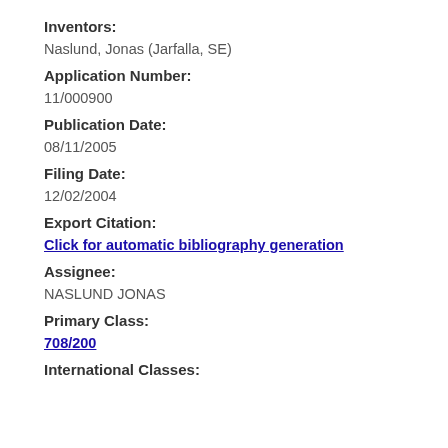Inventors:
Naslund, Jonas (Jarfalla, SE)
Application Number:
11/000900
Publication Date:
08/11/2005
Filing Date:
12/02/2004
Export Citation:
Click for automatic bibliography generation
Assignee:
NASLUND JONAS
Primary Class:
708/200
International Classes: